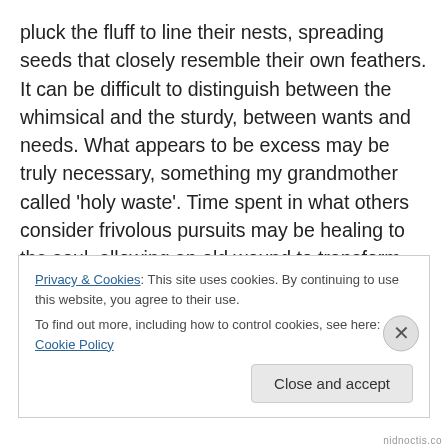pluck the fluff to line their nests, spreading seeds that closely resemble their own feathers. It can be difficult to distinguish between the whimsical and the sturdy, between wants and needs. What appears to be excess may be truly necessary, something my grandmother called 'holy waste'. Time spent in what others consider frivolous pursuits may be healing to the soul, allowing an old wound to transform into a new creation. One person's fluff may be another's substance, bringing beauty and joy into an otherwise drab existence. Take time today for your fluff, to sing instead of speaking, to dance instead of walking. Let healing light
Privacy & Cookies: This site uses cookies. By continuing to use this website, you agree to their use.
To find out more, including how to control cookies, see here: Cookie Policy
nidnoctis.co